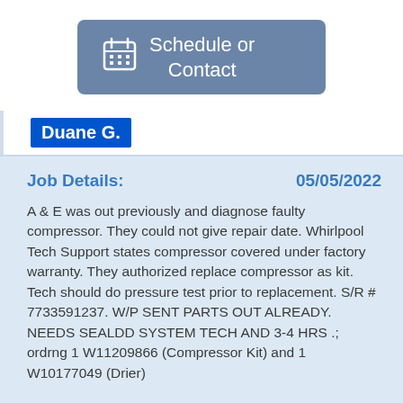[Figure (other): Blue-grey rounded button with calendar icon and text 'Schedule or Contact']
Duane G.
Job Details:    05/05/2022
A & E was out previously and diagnose faulty compressor. They could not give repair date. Whirlpool Tech Support states compressor covered under factory warranty. They authorized replace compressor as kit. Tech should do pressure test prior to replacement. S/R # 7733591237. W/P SENT PARTS OUT ALREADY. NEEDS SEALDD SYSTEM TECH AND 3-4 HRS .; ordrng 1 W11209866 (Compressor Kit) and 1 W10177049 (Drier)